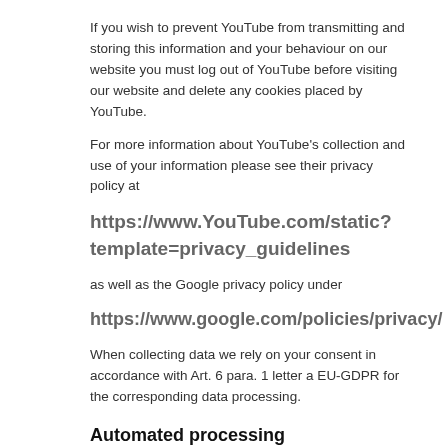If you wish to prevent YouTube from transmitting and storing this information and your behaviour on our website you must log out of YouTube before visiting our website and delete any cookies placed by YouTube.
For more information about YouTube's collection and use of your information please see their privacy policy at
https://www.YouTube.com/static?template=privacy_guidelines
as well as the Google privacy policy under
https://www.google.com/policies/privacy/
When collecting data we rely on your consent in accordance with Art. 6 para. 1 letter a EU-GDPR for the corresponding data processing.
Automated processing
We do not use purely automated processing to make a decision.
Online offers for children and young people
Persons under 16 years of age may not transmit any personal data to us or submit a declaration of consent without the consent of a parent or legal guardian. We would like to encourage parents and legal guardians to actively participate in the online activities and